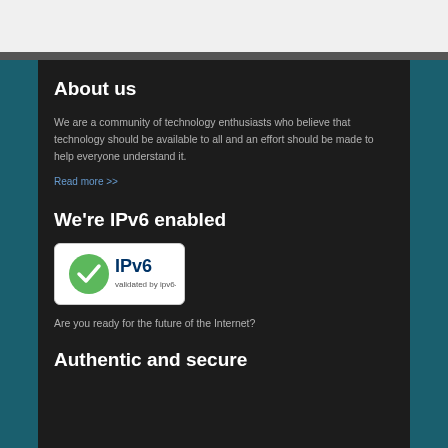About us
We are a community of technology enthusiasts who believe that technology should be available to all and an effort should be made to help everyone understand it.
Read more >>
We're IPv6 enabled
[Figure (logo): IPv6 validated by ipv6-test.com badge — green checkmark circle with IPv6 text]
Are you ready for the future of the Internet?
Authentic and secure